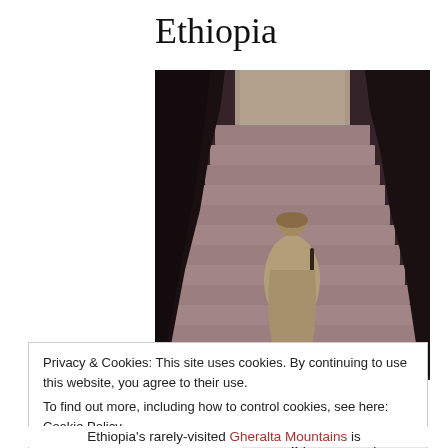Ethiopia
[Figure (photo): A robed pilgrim or monk seen from behind, holding a walking staff, ascending pink stone steps carved between dark rock walls, with bright light at the top. Likely at a rock-hewn church in Lalibela, Ethiopia.]
Privacy & Cookies: This site uses cookies. By continuing to use this website, you agree to their use.
To find out more, including how to control cookies, see here: Cookie Policy
Close and accept
Ethiopia's rarely-visited Gheralta Mountains is